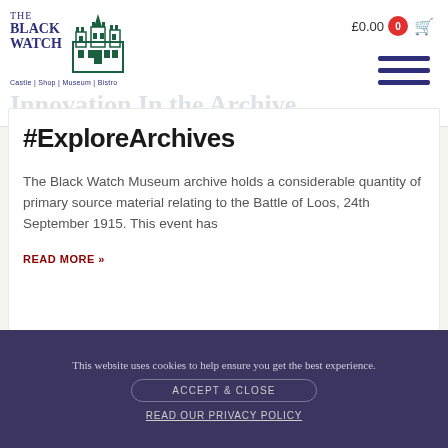[Figure (logo): The Black Watch Castle, Shop, Museum, Bistro logo with castle illustration and text in navy blue and dark green]
£0.00 0
Innovation In the Archive
#ExploreArchives
The Black Watch Museum archive holds a considerable quantity of primary source material relating to the Battle of Loos, 24th September 1915. This event has
READ MORE »
This website uses cookies to help ensure you get the best experience.
ACCEPT & CLOSE
READ OUR PRIVACY POLICY